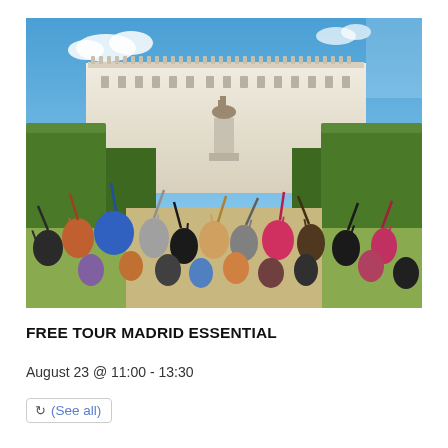[Figure (photo): Group of tourists with hands raised in front of a grand white palace building (Royal Palace of Madrid) with manicured hedges and a statue, on a sunny day with blue skies.]
FREE TOUR MADRID ESSENTIAL
August 23 @ 11:00 - 13:30
(See all)